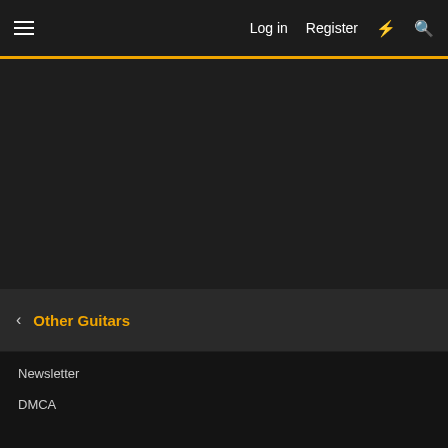Log in   Register
Other Guitars
Newsletter
DMCA